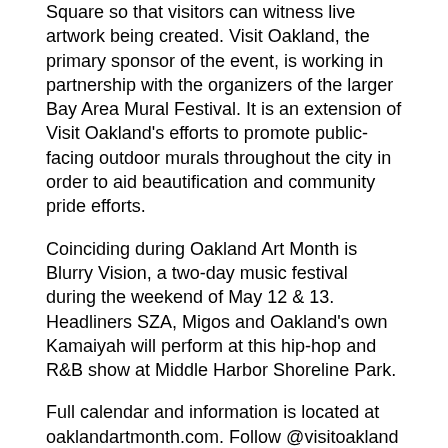Square so that visitors can witness live artwork being created. Visit Oakland, the primary sponsor of the event, is working in partnership with the organizers of the larger Bay Area Mural Festival. It is an extension of Visit Oakland's efforts to promote public-facing outdoor murals throughout the city in order to aid beautification and community pride efforts.
Coinciding during Oakland Art Month is Blurry Vision, a two-day music festival during the weekend of May 12 & 13. Headliners SZA, Migos and Oakland's own Kamaiyah will perform at this hip-hop and R&B show at Middle Harbor Shoreline Park.
Full calendar and information is located at oaklandartmonth.com. Follow @visitoakland and #oaklandartmonth on social media for the latest updates.
Visit Oakland would like to thank like to thank the following organizations and individuals for their time and support in the development of Oakland Art Month.
City of Oakland Cultural Affairs